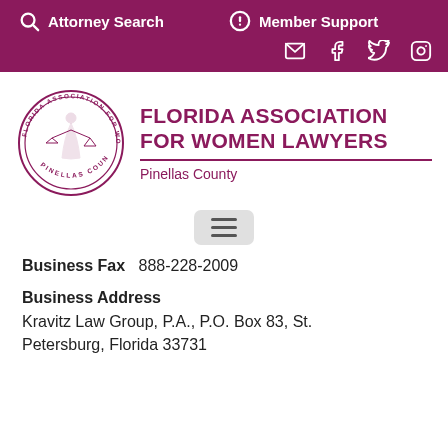Attorney Search  Member Support
[Figure (logo): Florida Association for Women Lawyers Pinellas County circular seal logo in magenta/pink]
FLORIDA ASSOCIATION FOR WOMEN LAWYERS
Pinellas County
[Figure (other): Hamburger menu button (three horizontal lines) in a light gray rounded rectangle]
Business Fax  888-228-2009
Business Address
Kravitz Law Group, P.A., P.O. Box 83, St. Petersburg, Florida 33731